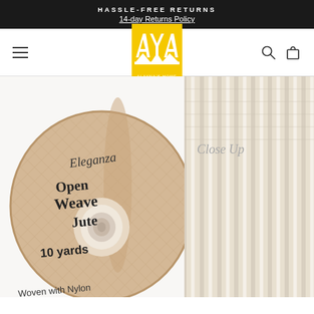HASSLE-FREE RETURNS
14-day Returns Policy
[Figure (logo): Alayna's Home yellow logo with stylized AH letters]
[Figure (photo): Eleganza Open Weave Jute ribbon on a spool, 10 yards, Woven with Nylon for Added Strength, with a close-up view of the ribbon texture on the right]